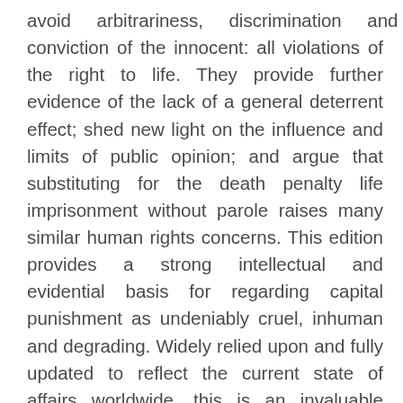avoid arbitrariness, discrimination and conviction of the innocent: all violations of the right to life. They provide further evidence of the lack of a general deterrent effect; shed new light on the influence and limits of public opinion; and argue that substituting for the death penalty life imprisonment without parole raises many similar human rights concerns. This edition provides a strong intellectual and evidential basis for regarding capital punishment as undeniably cruel, inhuman and degrading. Widely relied upon and fully updated to reflect the current state of affairs worldwide, this is an invaluable resource for all those who study the death penalty and work towards its removal as an international goal.